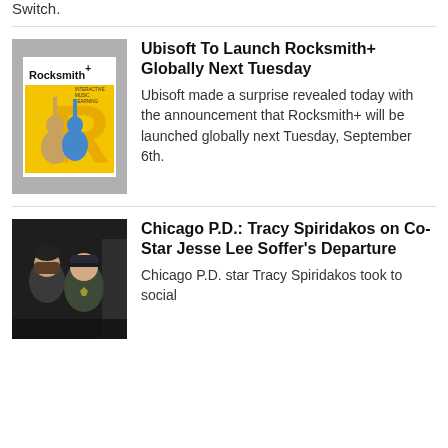Switch.
Ubisoft To Launch Rocksmith+ Globally Next Tuesday
Ubisoft made a surprise revealed today with the announcement that Rocksmith+ will be launched globally next Tuesday, September 6th.
Chicago P.D.: Tracy Spiridakos on Co-Star Jesse Lee Soffer's Departure
Chicago P.D. star Tracy Spiridakos took to social media to share the right...